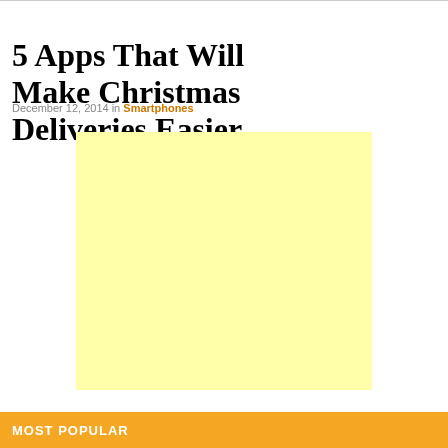5 Apps That Will Make Christmas Deliveries Easier
December 12, 2014 in Smartphones
[Figure (other): Yellow advertisement placeholder block]
MOST POPULAR